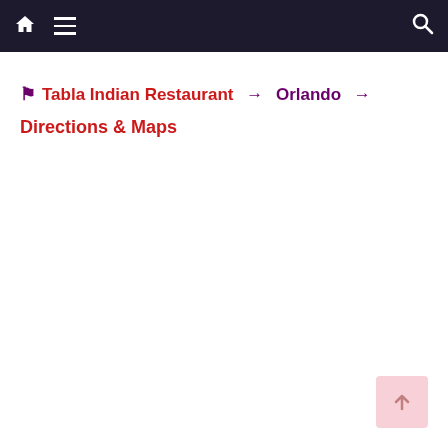Navbar with home icon, hamburger menu, and search icon
🏳 Tabla Indian Restaurant → Orlando → Directions & Maps